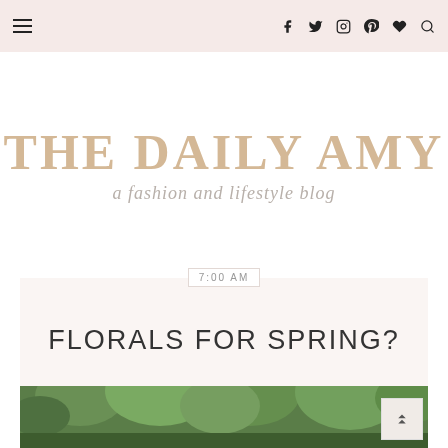Navigation bar with hamburger menu and social icons: Facebook, Twitter, Instagram, Pinterest, Heart, Search
THE DAILY AMY
a fashion and lifestyle blog
7:00 AM
FLORALS FOR SPRING?
[Figure (photo): Green outdoor garden/nature photo at the bottom of the page]